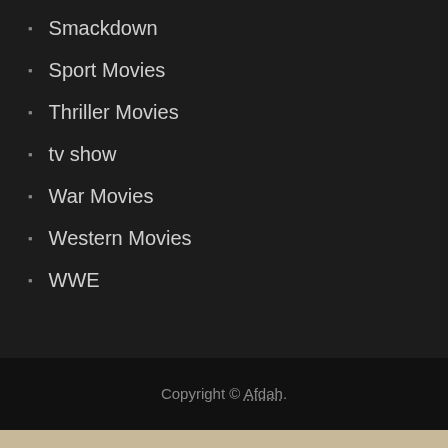Smackdown
Sport Movies
Thriller Movies
tv show
War Movies
Western Movies
WWE
Copyright © Afdah.